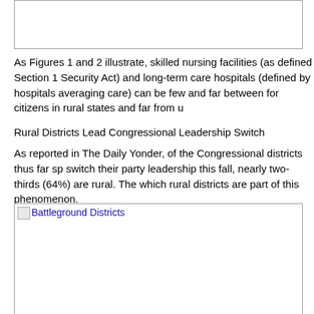[Figure (other): Top image placeholder box (partially visible, cropped from above)]
As Figures 1 and 2 illustrate, skilled nursing facilities (as defined Section 1 Security Act) and long-term care hospitals (defined by hospitals averaging care) can be few and far between for citizens in rural states and far from u
Rural Districts Lead Congressional Leadership Switch
As reported in The Daily Yonder, of the Congressional districts thus far sp switch their party leadership this fall, nearly two-thirds (64%) are rural. The which rural districts are part of this phenomenon.
[Figure (other): Battleground Districts image placeholder]